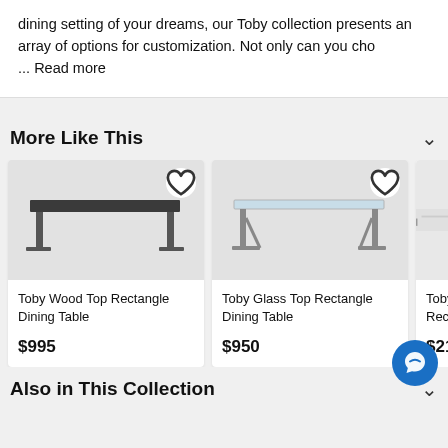dining setting of your dreams, our Toby collection presents an array of options for customization. Not only can you cho ... Read more
More Like This
[Figure (photo): Toby Wood Top Rectangle Dining Table - a dark wood top dining table with metal legs on a gray background, with a heart/wishlist button in the top right corner]
Toby Wood Top Rectangle Dining Table
$995
[Figure (photo): Toby Glass Top Rectangle Dining Table - a glass top dining table with metal legs on a gray background, with a heart/wishlist button in the top right corner]
Toby Glass Top Rectangle Dining Table
$950
[Figure (photo): Toby Marble Rectangle dining table partially visible, with metal legs on a gray background]
Toby Marb Rectangle
$2195
Also in This Collection